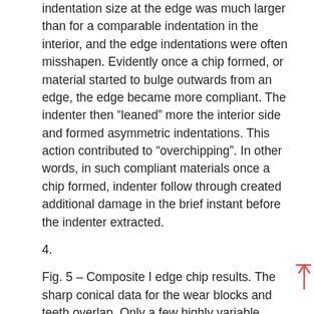indentation size at the edge was much larger than for a comparable indentation in the interior, and the edge indentations were often misshapen. Evidently once a chip formed, or material started to bulge outwards from an edge, the edge became more compliant. The indenter then “leaned” more the interior side and formed asymmetric indentations. This action contributed to “overchipping”. In other words, in such compliant materials once a chip formed, indenter follow through created additional damage in the brief instant before the indenter extracted.
4.
Fig. 5 – Composite I edge chip results. The sharp conical data for the wear blocks and teeth overlap. Only a few highly variable outcomes were obtained with the Vickers indenter. The arced lines with arrows show the percent differences of the edge toughness as measured by the different indenters.
Discussion
The results showed that the edge chip resistance varied